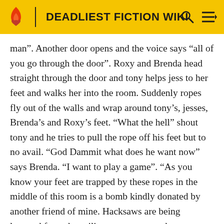DEADLIEST FICTION WIKI
man”. Another door opens and the voice says “all of you go through the door”. Roxy and Brenda head straight through the door and tony helps jess to her feet and walks her into the room. Suddenly ropes fly out of the walls and wrap around tony’s, jesses, Brenda’s and Roxy’s feet. “What the hell” shout tony and he tries to pull the rope off his feet but to no avail. “God Dammit what does he want now” says Brenda. “I want to play a game”. “As you know your feet are trapped by these ropes in the middle of this room is a bomb kindly donated by another friend of mine. Hacksaws are being lowered from the ceiling you must use these to cut through the ropes and escape before the timer runs out. You have 1 minute and 30 seconds. Let the game begin”. Immediately they all grab hold of the